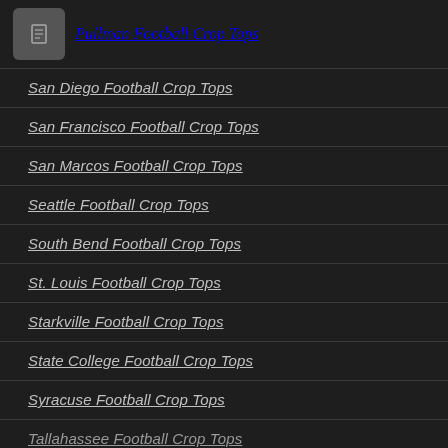[Figure (screenshot): Small gray icon box with a page/document icon]
Pullman Football Crop Tops
San Diego Football Crop Tops
San Francisco Football Crop Tops
San Marcos Football Crop Tops
Seattle Football Crop Tops
South Bend Football Crop Tops
St. Louis Football Crop Tops
Starkville Football Crop Tops
State College Football Crop Tops
Syracuse Football Crop Tops
Tallahassee Football Crop Tops